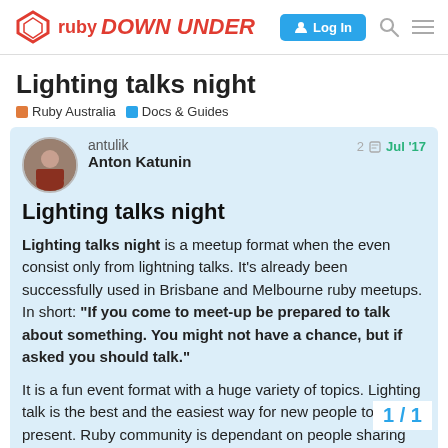ruby DOWN UNDER | Log In
Lighting talks night
Ruby Australia  Docs & Guides
antulik  Anton Katunin  2  Jul '17
Lighting talks night
Lighting talks night is a meetup format when the even consist only from lightning talks. It's already been successfully used in Brisbane and Melbourne ruby meetups. In short: "If you come to meet-up be prepared to talk about something. You might not have a chance, but if asked you should talk."
It is a fun event format with a huge variety of topics. Lighting talk is the best and the easiest way for new people to present. Ruby community is dependant on people sharing it's important to encourage everybody to d
1 / 1